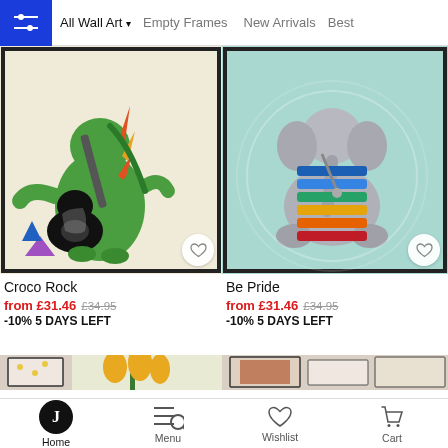All Wall Art ▾  Empty Frames  New Arrivals  Best
[Figure (illustration): Cartoon green dinosaur/crocodile playing a black electric guitar on a cream background, framed wall art poster called Croco Rock]
[Figure (illustration): Cartoon grey elephant/seal playing a colorful xylophone on a teal/mint background, framed wall art poster called Be Pride]
Croco Rock
from £31.46 £34.95
-10% 5 DAYS LEFT
Be Pride
from £31.46 £34.95
-10% 5 DAYS LEFT
[Figure (photo): Gallery wall display showing multiple framed art prints including bees, yellow tulips, feathers/striped prints, and colorful prints on a beige wall]
Home  Menu  Wishlist  Cart